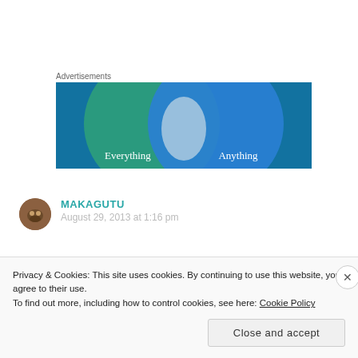Advertisements
[Figure (illustration): Advertisement banner showing two overlapping circles (Venn diagram style) on a teal and blue gradient background. Left circle is teal/green labeled 'Everything', right circle is blue labeled 'Anything', with a light overlap region in the center.]
MAKAGUTU
August 29, 2013 at 1:16 pm
Privacy & Cookies: This site uses cookies. By continuing to use this website, you agree to their use.
To find out more, including how to control cookies, see here: Cookie Policy
Close and accept